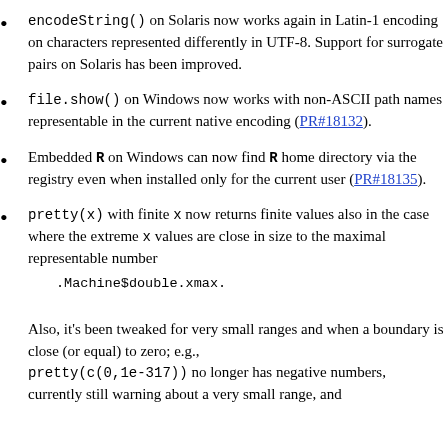encodeString() on Solaris now works again in Latin-1 encoding on characters represented differently in UTF-8. Support for surrogate pairs on Solaris has been improved.
file.show() on Windows now works with non-ASCII path names representable in the current native encoding (PR#18132).
Embedded R on Windows can now find R home directory via the registry even when installed only for the current user (PR#18135).
pretty(x) with finite x now returns finite values also in the case where the extreme x values are close in size to the maximal representable number .Machine$double.xmax. Also, it's been tweaked for very small ranges and when a boundary is close (or equal) to zero; e.g., pretty(c(0,1e-317)) no longer has negative numbers, currently still warning about a very small range, and